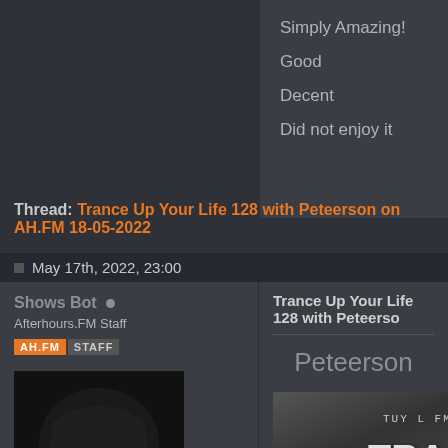Simply Amazing!
Good
Decent
Did not enjoy it
Thread: Trance Up Your Life 128 with Peteerson on AH.FM 18-05-2022
May 17th, 2022, 23:00
Shows Bot
Afterhours.FM Staff
Join Date:    Jul 2007
Trance Up Your Life 128 with Peteerson
Peteerson